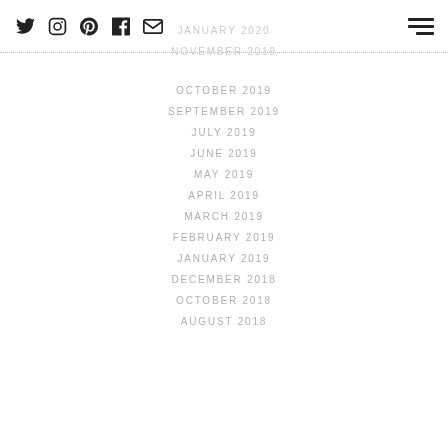Social icons: Twitter, Instagram, Pinterest, Facebook, Email | Hamburger menu
JANUARY 2020
NOVEMBER 2019
OCTOBER 2019
SEPTEMBER 2019
JULY 2019
JUNE 2019
MAY 2019
APRIL 2019
MARCH 2019
FEBRUARY 2019
JANUARY 2019
DECEMBER 2018
OCTOBER 2018
AUGUST 2018